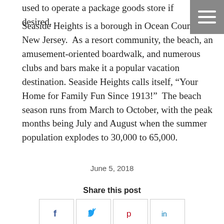used to operate a package goods store if desired.
Seaside Heights is a borough in Ocean County, New Jersey.  As a resort community, the beach, an amusement-oriented boardwalk, and numerous clubs and bars make it a popular vacation destination. Seaside Heights calls itself, “Your Home for Family Fun Since 1913!”  The beach season runs from March to October, with the peak months being July and August when the summer population explodes to 30,000 to 65,000.
June 5, 2018
Share this post